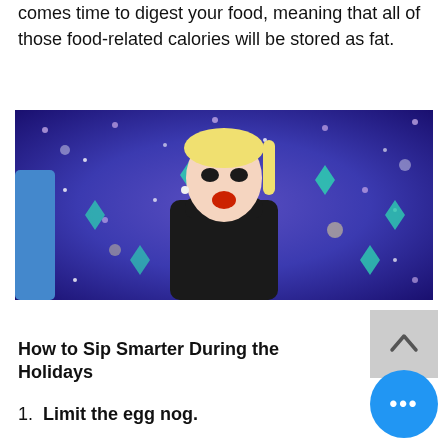comes time to digest your food, meaning that all of those food-related calories will be stored as fat.
[Figure (photo): Person with blonde hair in a black lace outfit with mouth open in a shocked expression, in front of a sparkly blue/purple curtain backdrop with teal diamond overlays]
How to Sip Smarter During the Holidays
1.  Limit the egg nog.